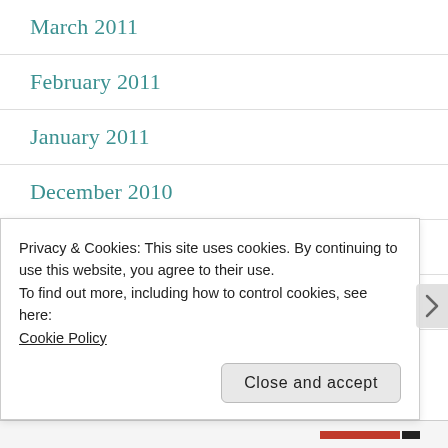March 2011
February 2011
January 2011
December 2010
November 2010
October 2010
September 2010
Privacy & Cookies: This site uses cookies. By continuing to use this website, you agree to their use.
To find out more, including how to control cookies, see here: Cookie Policy
Close and accept